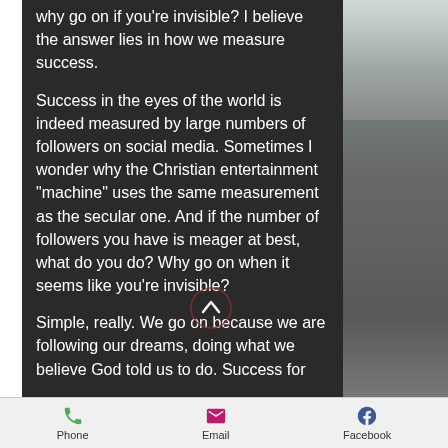why go on if you're invisible? I believe the answer lies in how we measure success.
Success in the eyes of the world is indeed measured by large numbers of followers on social media. Sometimes I wonder why the Christian entertainment "machine" uses the same measurement as the secular one. And if the number of followers you have is meager at best, what do you do? Why go on when it seems like you're invisible?
Simple, really. We go on because we are following our dreams, doing what we believe God told us to do. Success for
Phone    Email    Facebook